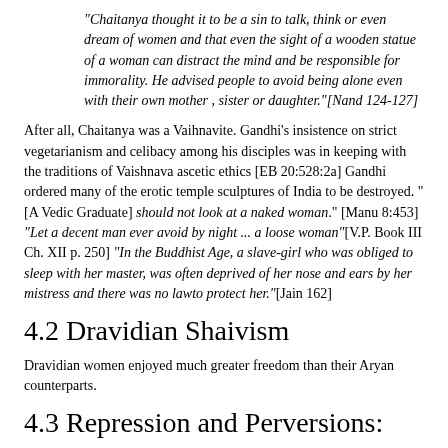"Chaitanya thought it to be a sin to talk, think or even dream of women and that even the sight of a wooden statue of a woman can distract the mind and be responsible for immorality. He advised people to avoid being alone even with their own mother , sister or daughter."[Nand 124-127]
After all, Chaitanya was a Vaihnavite. Gandhi's insistence on strict vegetarianism and celibacy among his disciples was in keeping with the traditions of Vaishnava ascetic ethics [EB 20:528:2a] Gandhi ordered many of the erotic temple sculptures of India to be destroyed. "[A Vedic Graduate] should not look at a naked woman." [Manu 8:453] "Let a decent man ever avoid by night ... a loose woman"[V.P. Book III Ch. XII p. 250] "In the Buddhist Age, a slave-girl who was obliged to sleep with her master, was often deprived of her nose and ears by her mistress and there was no lawto protect her."[Jain 162]
4.2 Dravidian Shaivism
Dravidian women enjoyed much greater freedom than their Aryan counterparts.
4.3 Repression and Perversions: Incest
Due to the strict restrictions and regulations one feature arose that is apparently more common in Aryan society than in any other part of the world: incest. References to this practice abound. Often the girls were unwilling, but were then forceed by their brothers/fathers. References abound even in the Rig Veda,